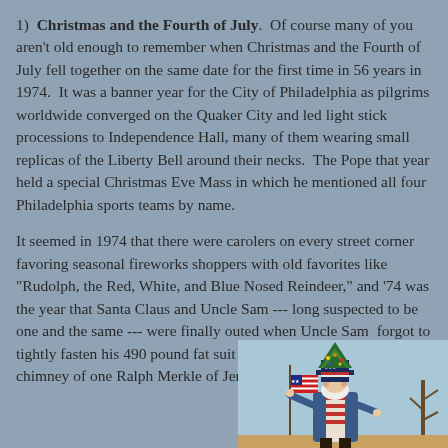1)  Christmas and the Fourth of July.  Of course many of you aren't old enough to remember when Christmas and the Fourth of July fell together on the same date for the first time in 56 years in 1974.  It was a banner year for the City of Philadelphia as pilgrims worldwide converged on the Quaker City and led light stick processions to Independence Hall, many of them wearing small replicas of the Liberty Bell around their necks.  The Pope that year held a special Christmas Eve Mass in which he mentioned all four Philadelphia sports teams by name.
It seemed in 1974 that there were carolers on every street corner favoring seasonal fireworks shoppers with old favorites like "Rudolph, the Red, White, and Blue Nosed Reindeer," and '74 was the year that Santa Claus and Uncle Sam --- long suspected to be one and the same --- were finally outed when Uncle Sam  forgot to tightly fasten his 490 pound fat suit before diving down the chimney of one Ralph Merkle of Jersey City NJ, as captured in the
[Figure (illustration): Vintage illustration of a figure resembling Santa Claus/Uncle Sam wearing a patriotic top hat decorated with an American flag, carrying a Christmas tree on his back and holding an American flag, in an old-fashioned holiday style.]